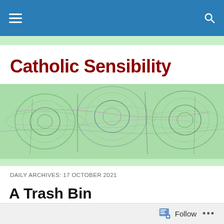Catholic Sensibility – Navigation bar
Catholic Sensibility
[Figure (illustration): Colorful abstract wave interference pattern banner image in greens, purples, and pinks on a light green background]
DAILY ARCHIVES: 17 OCTOBER 2021
A Trash Bin
[Figure (photo): Partial photo visible at bottom – appears to show a rounded dark grey object (possibly a trash bin) on a beige/tan background]
Follow  •••